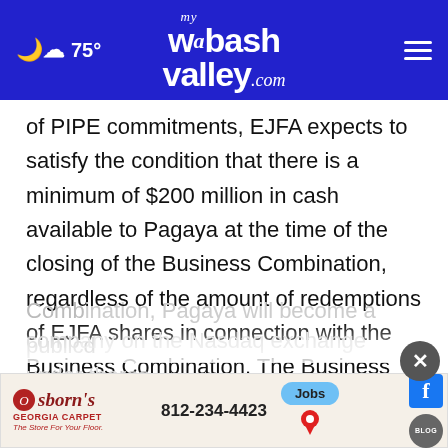75° mywabashvalley.com
of PIPE commitments, EJFA expects to satisfy the condition that there is a minimum of $200 million in cash available to Pagaya at the time of the closing of the Business Combination, regardless of the amount of redemptions of EJFA shares in connection with the Business Combination. The Business Combination is expected to close promptly after the Special Meeting. Upon the closing of the Business Combination, Pagaya will become a publicly traded company on the Nasdaq exchange under the shares
[Figure (other): Advertisement banner for Osborn's Georgia Carpet with phone number 812-234-4423, Facebook icon, Jobs button, map pin icon, and Blog icon. Close button overlay at top right.]